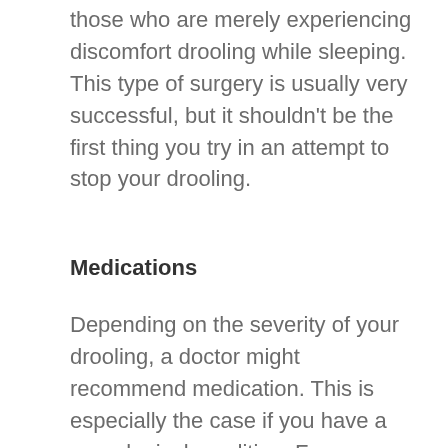those who are merely experiencing discomfort drooling while sleeping. This type of surgery is usually very successful, but it shouldn't be the first thing you try in an attempt to stop your drooling.
Medications
Depending on the severity of your drooling, a doctor might recommend medication. This is especially the case if you have a neurological condition. For example, scopolamine (also “hyoscine”) is a medication often used to prevent drooling, as it effectively cuts off nerve impulses to the salivary glands. If you’re prescribed this medication, chances are it will come in patch form; you’ll simply place the patch behind your ear and replace it every 72